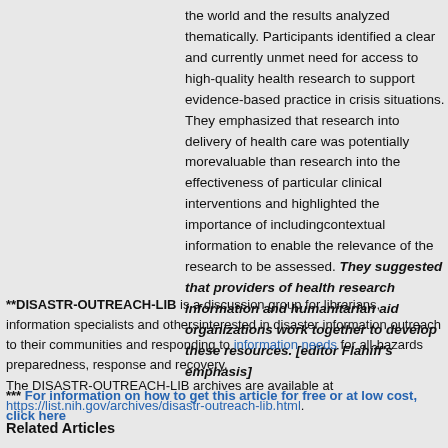the world and the results analyzed thematically. Participants identified a clear and currently unmet need for access to high-quality health research to support evidence-based practice in crisis situations. They emphasized that research into delivery of health care was potentially morevaluable than research into the effectiveness of particular clinical interventions and highlighted the importance of includingcontextual information to enable the relevance of the research to be assessed. They suggested that providers of health research information and humanitarian aid organizations work together to develop these resources. [editor Flahiff's emphasis]
**DISASTR-OUTREACH-LIB is a discussion group for librarians, information specialists and othersinterested in disaster information outreach to their communities and responding to information needs for all-hazards preparedness, response and recovery. The DISASTR-OUTREACH-LIB archives are available at https://list.nih.gov/archives/disastr-outreach-lib.html.
*** For information on how to get this article for free or at low cost, click here
Related Articles